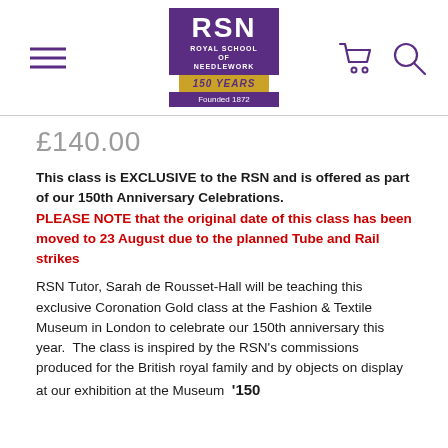RSN Royal School of Needlework – 150 Years – Founded 1872
£140.00
This class is EXCLUSIVE to the RSN and is offered as part of our 150th Anniversary Celebrations. PLEASE NOTE that the original date of this class has been moved to 23 August due to the planned Tube and Rail strikes
RSN Tutor, Sarah de Rousset-Hall will be teaching this exclusive Coronation Gold class at the Fashion & Textile Museum in London to celebrate our 150th anniversary this year.  The class is inspired by the RSN's commissions produced for the British royal family and by objects on display at our exhibition at the Museum  '150